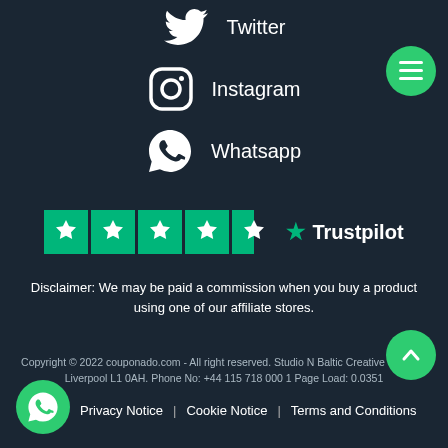[Figure (illustration): Twitter bird icon with 'Twitter' text label]
[Figure (illustration): Instagram camera icon with 'Instagram' text label]
[Figure (illustration): WhatsApp icon with 'Whatsapp' text label]
[Figure (logo): Trustpilot logo with 4.5 green stars rating]
Disclaimer: We may be paid a commission when you buy a product using one of our affiliate stores.
Copyright © 2022 couponado.com - All right reserved. Studio N Baltic Creative Campus Liverpool L1 0AH. Phone No: +44 115 718 000 1 Page Load: 0.0351
Privacy Notice | Cookie Notice | Terms and Conditions